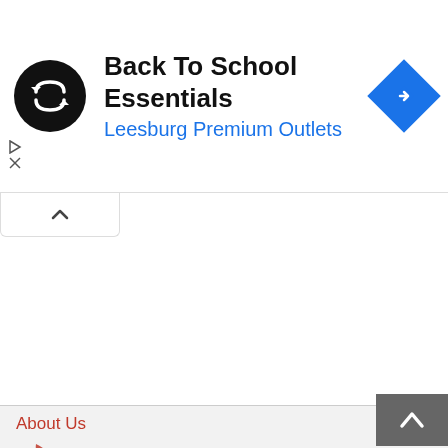[Figure (screenshot): Advertisement banner for Back To School Essentials at Leesburg Premium Outlets. Black circular icon with double arrows on left, bold title text, blue subtitle, blue diamond navigation arrow on right.]
[Figure (screenshot): Collapsed/minimize tab button with upward caret chevron icon.]
About Us
[Figure (logo): The Khaama Press logo — red feather/bird graphic on left, 'The KHAAMA PRES' text in blue and red on right (partially cropped).]